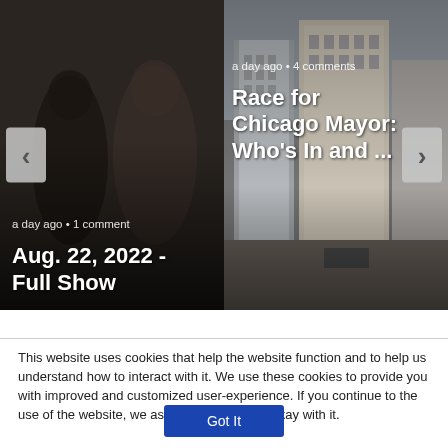[Figure (screenshot): Left carousel card showing a TV show thumbnail with silhouetted figures, navigation arrow on left, metadata 'a day ago • 1 comment', title 'Aug. 22, 2022 - Full Show']
[Figure (screenshot): Right carousel card showing a city building thumbnail, navigation arrow on right, metadata 'a day ago • 4 comments', title 'Race for Chicago Mayor: Who's In and ...']
This website uses cookies that help the website function and to help us understand how to interact with it. We use these cookies to provide you with improved and customized user-experience. If you continue to the use of the website, we assume that you are okay with it.
Got It